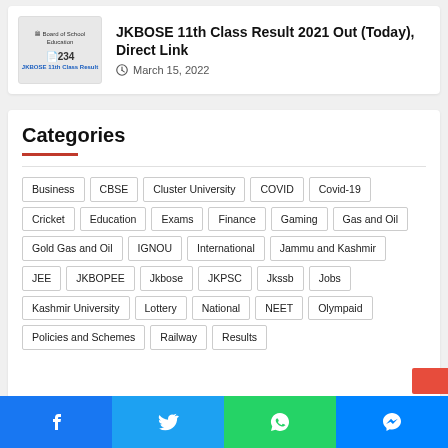[Figure (screenshot): JKBOSE 11th Class Result thumbnail image with logo and roll number placeholder]
JKBOSE 11th Class Result 2021 Out (Today), Direct Link
March 15, 2022
Categories
Business
CBSE
Cluster University
COVID
Covid-19
Cricket
Education
Exams
Finance
Gaming
Gas and Oil
Gold Gas and Oil
IGNOU
International
Jammu and Kashmir
JEE
JKBOPEE
Jkbose
JKPSC
Jkssb
Jobs
Kashmir University
Lottery
National
NEET
Olympaid
Policies and Schemes
Railway
Results